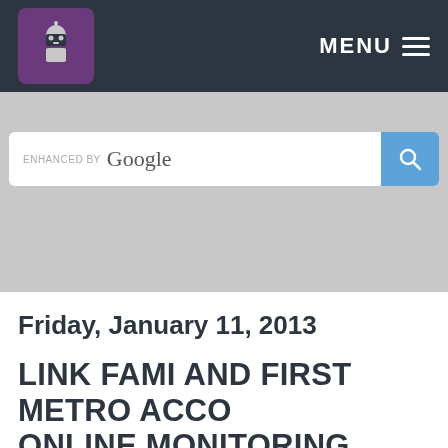MENU
[Figure (screenshot): Google Enhanced search bar with blue search button]
Friday, January 11, 2013
LINK FAMI AND FIRST METRO ACCO ONLINE MONITORING